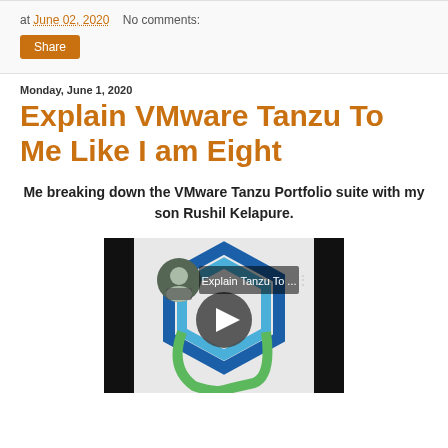at June 02, 2020   No comments:
Share
Monday, June 1, 2020
Explain VMware Tanzu To Me Like I am Eight
Me breaking down the VMware Tanzu Portfolio suite with my son Rushil Kelapure.
[Figure (screenshot): YouTube video thumbnail showing 'Explain Tanzu To ...' with a circular profile photo of a man in a striped shirt overlaid on a hexagonal logo design with blue and green colors, and a YouTube play button in the center.]